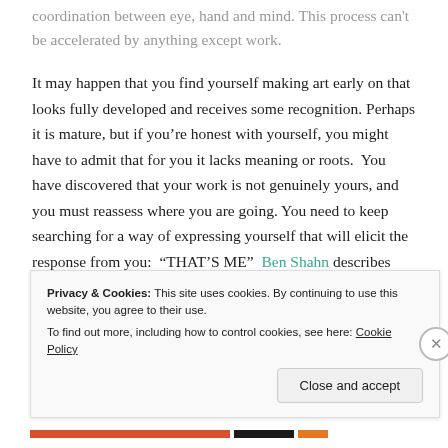coordination between eye, hand and mind. This process can't be accelerated by anything except work.
It may happen that you find yourself making art early on that looks fully developed and receives some recognition. Perhaps it is mature, but if you're honest with yourself, you might have to admit that for you it lacks meaning or roots.  You have discovered that your work is not genuinely yours, and you must reassess where you are going. You need to keep searching for a way of expressing yourself that will elicit the response from you:  "THAT'S ME"  Ben Shahn describes this
Privacy & Cookies: This site uses cookies. By continuing to use this website, you agree to their use.
To find out more, including how to control cookies, see here: Cookie Policy
Close and accept